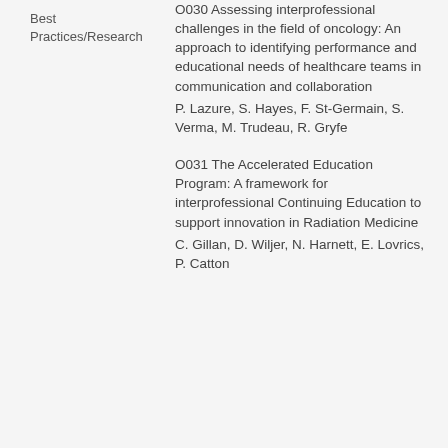Best Practices/Research
O030 Assessing interprofessional challenges in the field of oncology: An approach to identifying performance and educational needs of healthcare teams in communication and collaboration
P. Lazure, S. Hayes, F. St-Germain, S. Verma, M. Trudeau, R. Gryfe
O031 The Accelerated Education Program: A framework for interprofessional Continuing Education to support innovation in Radiation Medicine
C. Gillan, D. Wiljer, N. Harnett, E. Lovrics, P. Catton